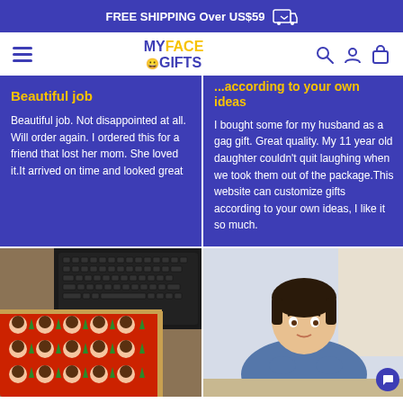FREE SHIPPING Over US$59
[Figure (logo): MyFace Gifts logo with hamburger menu, search, user, and cart icons]
Beautiful job
Beautiful job. Not disappointed at all. Will order again. I ordered this for a friend that lost her mom. She loved it.It arrived on time and looked great
...according to your own ideas
I bought some for my husband as a gag gift. Great quality. My 11 year old daughter couldn't quit laughing when we took them out of the package.This website can customize gifts according to your own ideas, I like it so much.
[Figure (photo): Custom red mousepad with face pattern next to a keyboard on a desk]
[Figure (photo): Young child sitting at a table looking down, in a denim jacket]